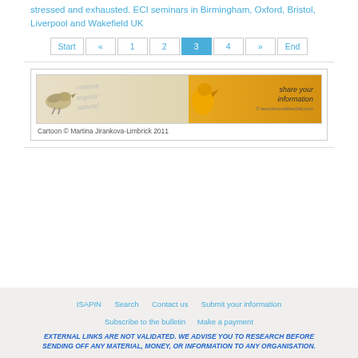stressed and exhausted. ECI seminars in Birmingham, Oxford, Bristol, Liverpool and Wakefield UK
Start « 1 2 3 4 » End
[Figure (illustration): Cartoon banner image with birds, creative/organic/natural script text on left beige background, and a yellow bird shape on right with 'share your information' text. Caption: Cartoon © Martina Jirankova-Limbrick 2011]
Cartoon © Martina Jirankova-Limbrick 2011
ISAPIN   Search   Contact us   Submit your information   Subscribe to the bulletin   Make a payment   EXTERNAL LINKS ARE NOT VALIDATED. WE ADVISE YOU TO RESEARCH BEFORE SENDING OFF ANY MATERIAL, MONEY, OR INFORMATION TO ANY ORGANISATION.